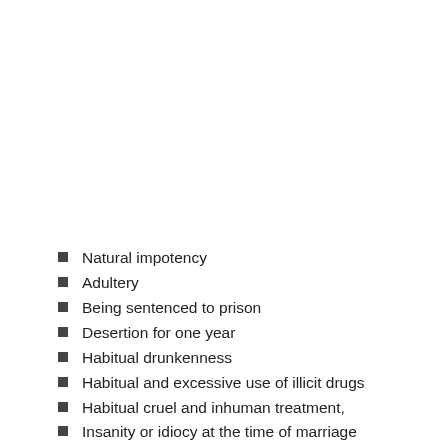Natural impotency
Adultery
Being sentenced to prison
Desertion for one year
Habitual drunkenness
Habitual and excessive use of illicit drugs
Habitual cruel and inhuman treatment,
Insanity or idiocy at the time of marriage
Marriage to another person at the time of the